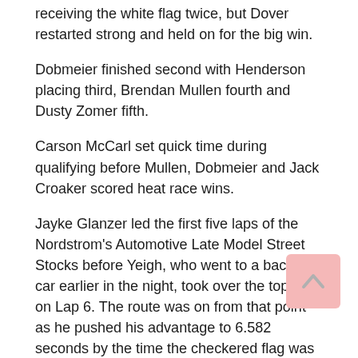receiving the white flag twice, but Dover restarted strong and held on for the big win.
Dobmeier finished second with Henderson placing third, Brendan Mullen fourth and Dusty Zomer fifth.
Carson McCarl set quick time during qualifying before Mullen, Dobmeier and Jack Croaker scored heat race wins.
Jayke Glanzer led the first five laps of the Nordstrom's Automotive Late Model Street Stocks before Yeigh, who went to a backup car earlier in the night, took over the top spot on Lap 6. The route was on from that point as he pushed his advantage to 6.582 seconds by the time the checkered flag was waved. It capped his first career title at the track in style.
“It’s pretty cool,” he said. “Coming here as a kid I never thought this would happen, but here we are. I’ll take wins any day, but this is pretty cool, too.”
[Figure (other): Back to top arrow button icon, pink/light red rounded square]